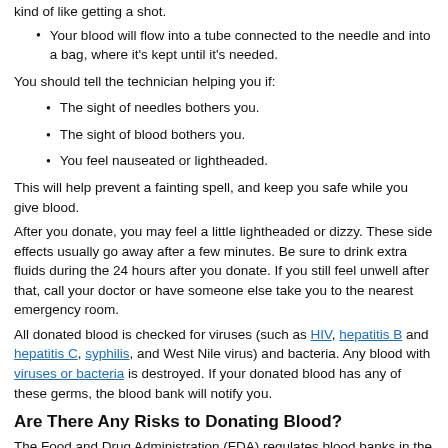Your blood will flow into a tube connected to the needle and into a bag, where it's kept until it's needed.
You should tell the technician helping you if:
The sight of needles bothers you.
The sight of blood bothers you.
You feel nauseated or lightheaded.
This will help prevent a fainting spell, and keep you safe while you give blood.
After you donate, you may feel a little lightheaded or dizzy. These side effects usually go away after a few minutes. Be sure to drink extra fluids during the 24 hours after you donate. If you still feel unwell after that, call your doctor or have someone else take you to the nearest emergency room.
All donated blood is checked for viruses (such as HIV, hepatitis B and hepatitis C, syphilis, and West Nile virus) and bacteria. Any blood with viruses or bacteria is destroyed. If your donated blood has any of these germs, the blood bank will notify you.
Are There Any Risks to Donating Blood?
The Food and Drug Administration (FDA) regulates blood banks in the United